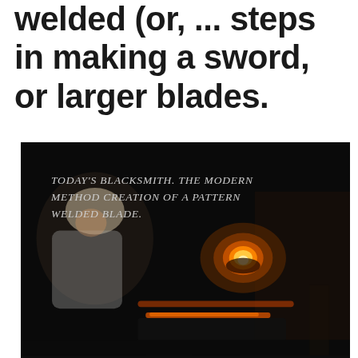welded (or, ... steps in making a sword, or larger blades.
[Figure (photo): Book cover photograph showing a blacksmith working at a forge in a dark workshop. A bright orange glowing flame is visible in the center, and a red-hot blade rests on an anvil. The blacksmith is visible in the upper left. Overlay text reads: TODAY'S BLACKSMITH. THE MODERN METHOD CREATION OF A PATTERN WELDED BLADE.]